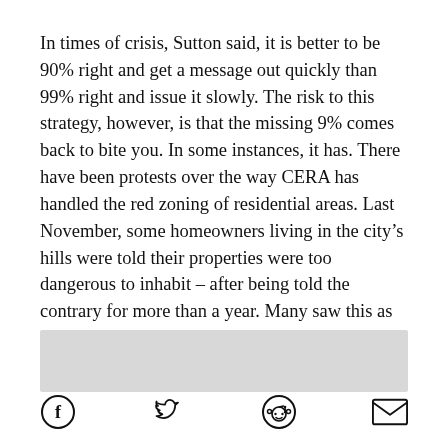In times of crisis, Sutton said, it is better to be 90% right and get a message out quickly than 99% right and issue it slowly. The risk to this strategy, however, is that the missing 9% comes back to bite you. In some instances, it has. There have been protests over the way CERA has handled the red zoning of residential areas. Last November, some homeowners living in the city's hills were told their properties were too dangerous to inhabit – after being told the contrary for more than a year. Many saw this as an example of top-down leadership gone wrong.
[Figure (other): Grey rectangle placeholder bar]
[Figure (other): Social sharing icons: Facebook, Twitter, Reddit, Email]